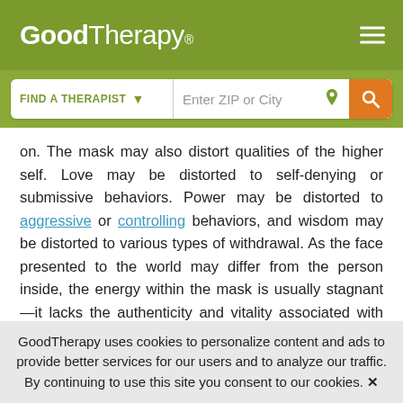GoodTherapy®
on. The mask may also distort qualities of the higher self. Love may be distorted to self-denying or submissive behaviors. Power may be distorted to aggressive or controlling behaviors, and wisdom may be distorted to various types of withdrawal. As the face presented to the world may differ from the person inside, the energy within the mask is usually stagnant—it lacks the authenticity and vitality associated with individuals who are fully aware of themselves and able to express their innate
GoodTherapy uses cookies to personalize content and ads to provide better services for our users and to analyze our traffic. By continuing to use this site you consent to our cookies. ✕